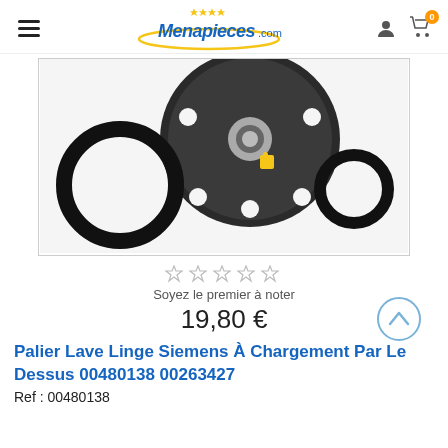Menapieces.com
[Figure (photo): Product photo of a washing machine bearing kit for Siemens top-load washer, showing a dark round flange/bearing housing with a central bearing, a large black O-ring on the left, and a smaller black O-ring on the right, on a white/light grey background.]
Soyez le premier à noter
19,80 €
Palier Lave Linge Siemens À Chargement Par Le Dessus 00480138 00263427
Ref : 00480138